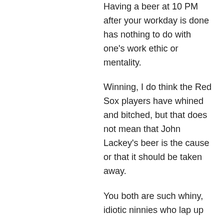Having a beer at 10 PM after your workday is done has nothing to do with one's work ethic or mentality.
Winning, I do think the Red Sox players have whined and bitched, but that does not mean that John Lackey's beer is the cause or that it should be taken away.
You both are such whiny, idiotic ninnies who lap up